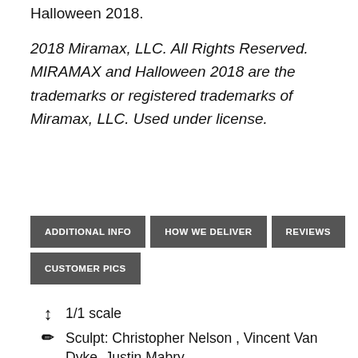Halloween 2018.
2018 Miramax, LLC. All Rights Reserved. MIRAMAX and Halloween 2018 are the trademarks or registered trademarks of Miramax, LLC. Used under license.
ADDITIONAL INFO
HOW WE DELIVER
REVIEWS
CUSTOMER PICS
1/1 scale
Sculpt: Christopher Nelson , Vincent Van Dyke, Justin Mabry
Trick or Treat Studios